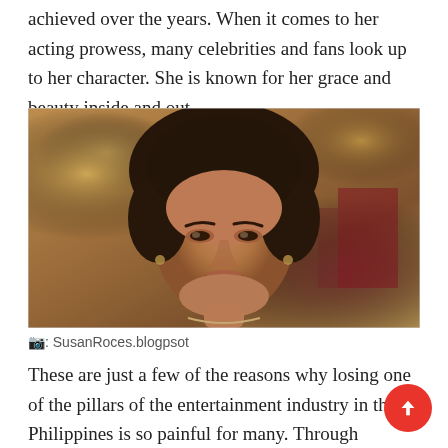achieved over the years. When it comes to her acting prowess, many celebrities and fans look up to her character. She is known for her grace and beauty inside and out.
[Figure (photo): Vintage portrait photo of Susan Roces, a Filipino actress, with warm sepia tones. She has dark upswept hair and is smiling gracefully.]
📷: SusanRoces.blogpsot
These are just a few of the reasons why losing one of the pillars of the entertainment industry in the Philippines is so painful for many. Through different social media platforms, celebrities